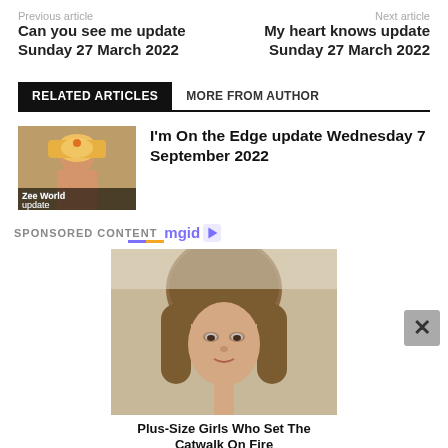Previous article
Next article
Can you see me update Sunday 27 March 2022
My heart knows update Sunday 27 March 2022
RELATED ARTICLES
MORE FROM AUTHOR
[Figure (photo): Thumbnail of Indian woman in yellow veil with label Zee World update]
I'm On the Edge update Wednesday 7 September 2022
SPONSORED CONTENT mgid
[Figure (photo): Photo of a young woman with long brown hair looking at camera]
Plus-Size Girls Who Set The Catwalk On Fire